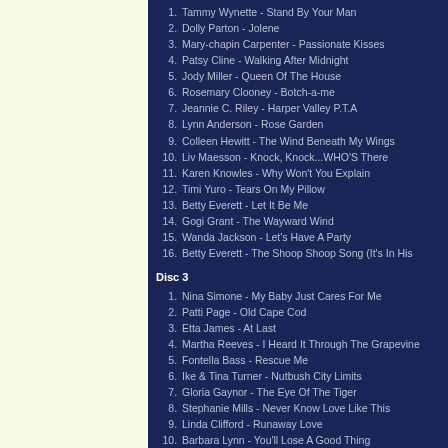1. Tammy Wynette - Stand By Your Man
2. Dolly Parton - Jolene
3. Mary-chapin Carpenter - Passionate Kisses
4. Patsy Cline - Walking After Midnight
5. Jody Miller - Queen Of The House
6. Rosemary Clooney - Botch-a-me
7. Jeannie C. Riley - Harper Valley P.T.A
8. Lynn Anderson - Rose Garden
9. Colleen Hewitt - The Wind Beneath My Wings
10. Liv Maesson - Knock, Knock...WHO'S There
11. Karen Knowles - Why Won't You Explain
12. Timi Yuro - Tears On My Pillow
13. Betty Everett - Let It Be Me
14. Gogi Grant - The Wayward Wind
15. Wanda Jackson - Let's Have A Party
16. Betty Everett - The Shoop Shoop Song (It's In His...
Disc 3
1. Nina Simone - My Baby Just Cares For Me
2. Patti Page - Old Cape Cod
3. Etta James - At Last
4. Martha Reeves - I Heard It Through The Grapevine...
5. Fontella Bass - Rescue Me
6. Ike & Tina Turner - Nutbush City Limits
7. Gloria Gaynor - The Eye Of The Tiger
8. Stephanie Mills - Never Know Love Like This
9. Linda Clifford - Runaway Love
10. Barbara Lynn - You'll Lose A Good Thing